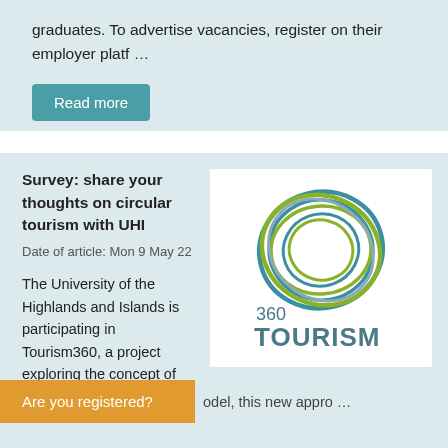graduates. To advertise vacancies, register on their employer platf …
Read more
Survey: share your thoughts on circular tourism with UHI
Date of article: Mon 9 May 22
The University of the Highlands and Islands is participating in Tourism360, a project exploring the concept of circular tourism. Based
[Figure (logo): 360 Tourism circular logo with concentric rings in teal, grey, and green colors, with text '360 TOURISM' below]
Are you registered?
odel, this new appro …